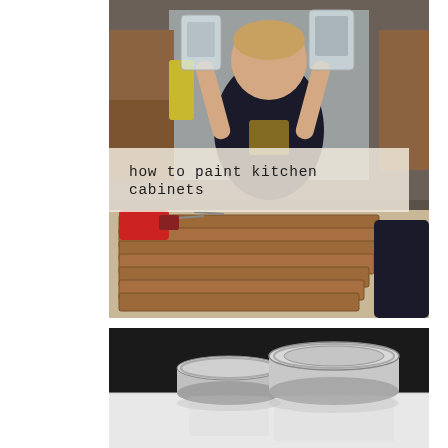[Figure (photo): A young toddler boy in a dark t-shirt holding up two clear plastic bags containing screws and hardware, standing in front of kitchen cabinets. Below the child, stacked wooden cabinet doors are visible on the floor with a red power drill nearby. Another child is partially visible on the right side.]
how to paint kitchen cabinets
[Figure (photo): Two paint cans with metal lids on a dark background, reflected on a shiny surface below them.]